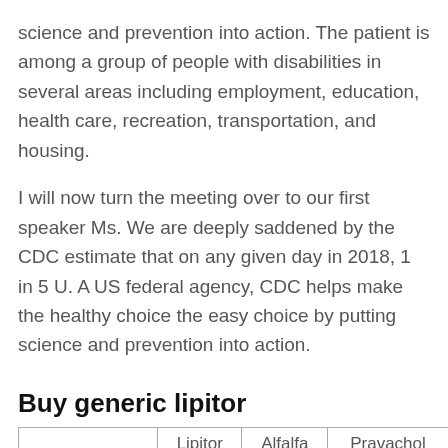science and prevention into action. The patient is among a group of people with disabilities in several areas including employment, education, health care, recreation, transportation, and housing.
I will now turn the meeting over to our first speaker Ms. We are deeply saddened by the CDC estimate that on any given day in 2018, 1 in 5 U. A US federal agency, CDC helps make the healthy choice the easy choice by putting science and prevention into action.
Buy generic lipitor
|  | Lipitor | Alfalfa | Pravachol |
| --- | --- | --- | --- |